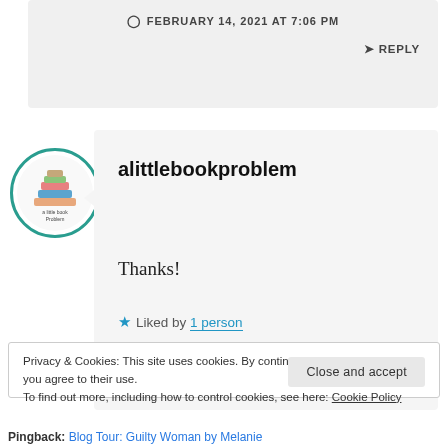FEBRUARY 14, 2021 AT 7:06 PM
↳ REPLY
[Figure (logo): Circular avatar with teal border showing 'a little book problem' logo with illustrated books]
alittlebookproblem
Thanks!
★ Liked by 1 person
Privacy & Cookies: This site uses cookies. By continuing to use this website, you agree to their use.
To find out more, including how to control cookies, see here: Cookie Policy
Close and accept
Pingback: Blog Tour: Guilty Woman by Melanie